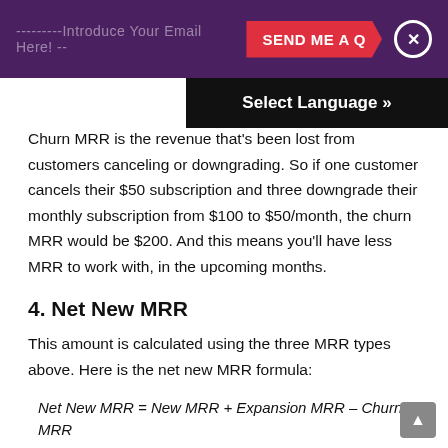---------Introduce Your Email Here! -- SEND ME A Q x
Select Language »
Churn MRR is the revenue that's been lost from customers canceling or downgrading. So if one customer cancels their $50 subscription and three downgrade their monthly subscription from $100 to $50/month, the churn MRR would be $200. And this means you'll have less MRR to work with, in the upcoming months.
4. Net New MRR
This amount is calculated using the three MRR types above. Here is the net new MRR formula:
The result of the calculation will tell you how much MRR you're